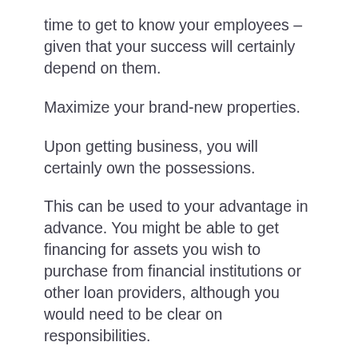time to get to know your employees – given that your success will certainly depend on them.
Maximize your brand-new properties.
Upon getting business, you will certainly own the possessions.
This can be used to your advantage in advance. You might be able to get financing for assets you wish to purchase from financial institutions or other loan providers, although you would need to be clear on responsibilities.
Consider franchising – you can acquire a franchise with limited funds and also acquire an existing